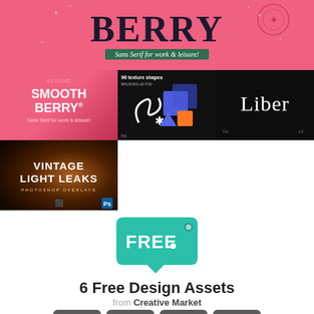[Figure (illustration): Pink background banner with large bold text 'BERRY' in dark serif font, subtitle 'Sans Serif for work & leisure!' on green banner strip]
[Figure (illustration): Grid of four design asset thumbnails: Smooth Berry (pink), 90 Texture Shapes (dark with 3D shapes), Liber font (black background white text), Vintage Light Leaks (warm gradient)]
[Figure (illustration): Teal price tag shape with 'FREE.' text in white bold letters]
6 Free Design Assets
from Creative Market
2 Days  1 Hrs  10 Min  1 Sec
Get these free goods before it's too late!